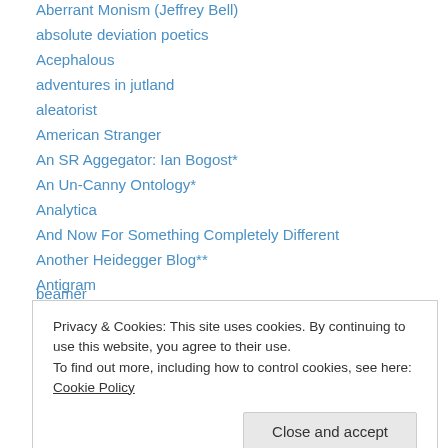Aberrant Monism (Jeffrey Bell)
absolute deviation poetics
Acephalous
adventures in jutland
aleatorist
American Stranger
An SR Aggegator: Ian Bogost*
An Un-Canny Ontology*
Analytica
And Now For Something Completely Different
Another Heidegger Blog**
Antigram
archive: s0metim3s
beamer
Privacy & Cookies: This site uses cookies. By continuing to use this website, you agree to their use.
To find out more, including how to control cookies, see here: Cookie Policy
Complete Lies*